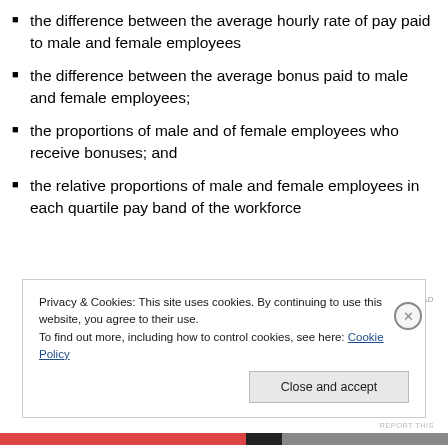the difference between the average hourly rate of pay paid to male and female employees
the difference between the average bonus paid to male and female employees;
the proportions of male and of female employees who receive bonuses; and
the relative proportions of male and female employees in each quartile pay band of the workforce
Privacy & Cookies: This site uses cookies. By continuing to use this website, you agree to their use.
To find out more, including how to control cookies, see here: Cookie Policy